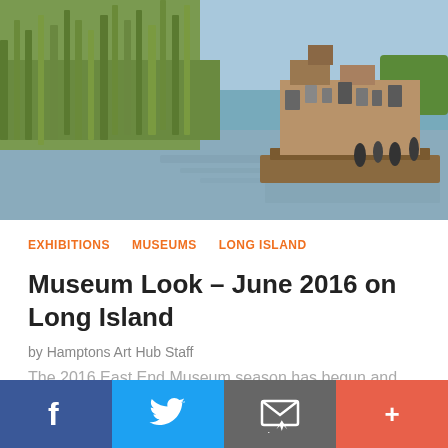[Figure (photo): A large, chaotic floating structure made of scrap materials and junk on a calm river, with tall green reeds on the left bank and people standing on the platform. Blue sky in background.]
EXHIBITIONS   MUSEUMS   LONG ISLAND
Museum Look – June 2016 on Long Island
by Hamptons Art Hub Staff
The 2016 East End Museum season has begun and there are plenty of exhibitions to see. Highlights include Guild Hall's Peter Beard...
[Figure (photo): Partial view of another photo — blue sky and what appears to be a building or structure on the right edge.]
f  (Twitter bird)  (envelope/email icon)  +